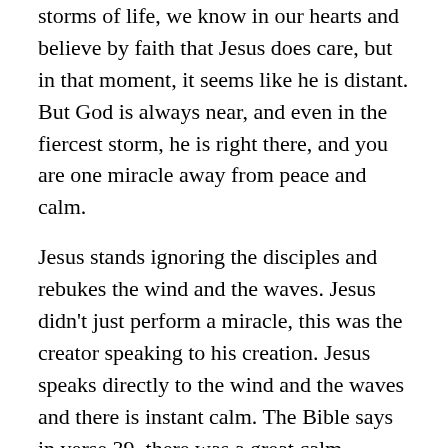storms of life, we know in our hearts and believe by faith that Jesus does care, but in that moment, it seems like he is distant. But God is always near, and even in the fiercest storm, he is right there, and you are one miracle away from peace and calm.
Jesus stands ignoring the disciples and rebukes the wind and the waves. Jesus didn't just perform a miracle, this was the creator speaking to his creation. Jesus speaks directly to the wind and the waves and there is instant calm. The Bible says in verse 39, there was a great calm.
Jesus rebukes the disciples and says, "Have you still no faith?" What he really was asking them was, "do you still not know who I am?" Obviously, they didn't because verse 41 tells us that they were filled with great fear and asked each other, "who then is this that even the wind and the sea obey him?" The truth was beginning to become real to them, as the apostle Paul would later